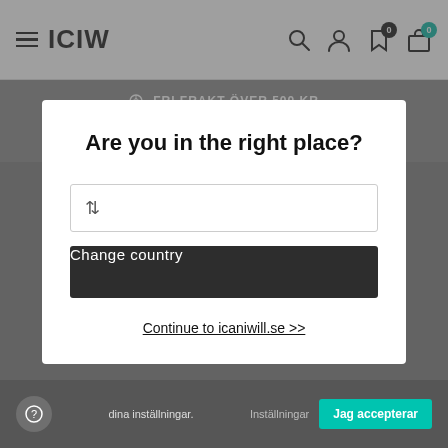ICIW
FRI FRAKT ÖVER 500 KR
Hem / Dam / Kjolar & Klänningar
Are you in the right place?
Change country
Continue to icaniwill.se >>
dina inställningar.
Inställningar
Jag accepterar